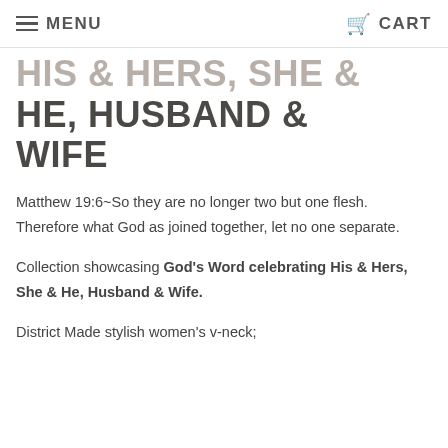Menu  Cart
HIS & HERS, SHE & HE, HUSBAND & WIFE
Matthew 19:6~So they are no longer two but one flesh. Therefore what God as joined together, let no one separate.
Collection showcasing God's Word celebrating His & Hers, She & He, Husband & Wife.
District Made stylish women's v-neck;